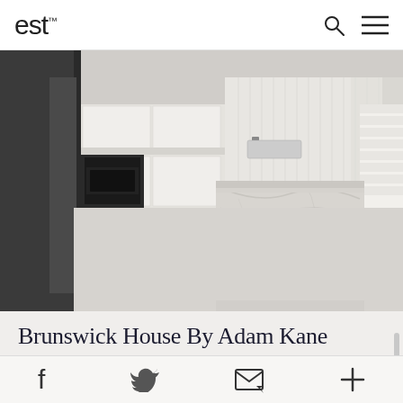est
[Figure (photo): Minimalist kitchen interior with white cabinetry, a large marble island in the center, black oven on the left, a dark door frame, and a staircase visible on the right. Black and white/monochrome photography.]
Brunswick House By Adam Kane Architects
Share icons: Facebook, Twitter, Email, More